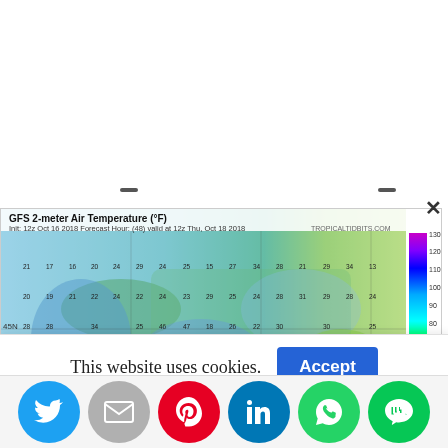[Figure (map): GFS 2-meter Air Temperature (°F) weather map showing northeastern United States and Canada. Init: 12z Oct 16 2018, Forecast Hour: (48), valid at 12z Thu Oct 18 2018. Source: TROPICALTIDBITS.COM. Color scale from -20 to 130°F shown on right side. Blue/green colors indicate cold temperatures. Text overlay reads 'FROST & FREEZE THURSDAY MORNING' in bold blue italic text.]
This website uses cookies.
Accept